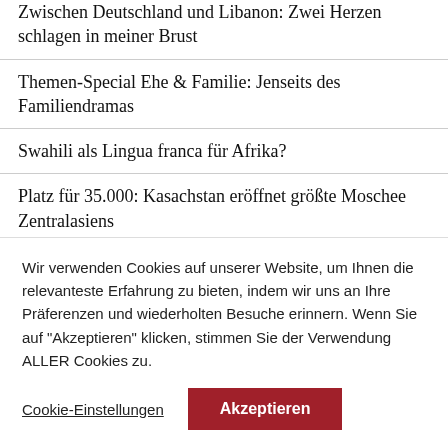Zwischen Deutschland und Libanon: Zwei Herzen schlagen in meiner Brust
Themen-Special Ehe & Familie: Jenseits des Familiendramas
Swahili als Lingua franca für Afrika?
Platz für 35.000: Kasachstan eröffnet größte Moschee Zentralasiens
Wir verwenden Cookies auf unserer Website, um Ihnen die relevanteste Erfahrung zu bieten, indem wir uns an Ihre Präferenzen und wiederholten Besuche erinnern. Wenn Sie auf "Akzeptieren" klicken, stimmen Sie der Verwendung ALLER Cookies zu.
Cookie-Einstellungen | Akzeptieren